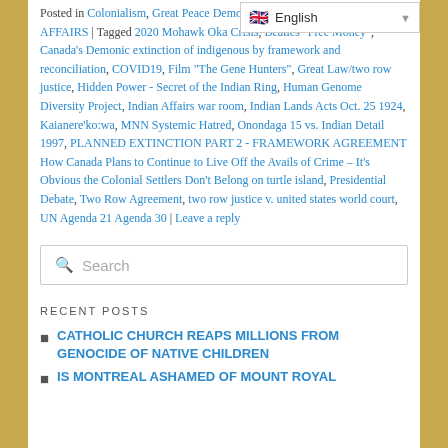Posted in Colonialism, Great Peace Democracy / Two-row /, INDIAN AFFAIRS | Tagged 2020 Mohawk Oka Crisis, Beatles "Free Money", Canada's Demonic extinction of indigenous by framework and reconciliation, COVID19, Film "The Gene Hunters", Great Law/two row justice, Hidden Power - Secret of the Indian Ring, Human Genome Diversity Project, Indian Affairs war room, Indian Lands Acts Oct. 25 1924, Kaianere'ko:wa, MNN Systemic Hatred, Onondaga 15 vs. Indian Detail 1997, PLANNED EXTINCTION PART 2 - FRAMEWORK AGREEMENT How Canada Plans to Continue to Live Off the Avails of Crime – It's Obvious the Colonial Settlers Don't Belong on turtle island, Presidential Debate, Two Row Agreement, two row justice v. united states world court, UN Agenda 21 Agenda 30 | Leave a reply
Search
RECENT POSTS
CATHOLIC CHURCH REAPS MILLIONS FROM GENOCIDE OF NATIVE CHILDREN
IS MONTREAL ASHAMED OF MOUNT ROYAL